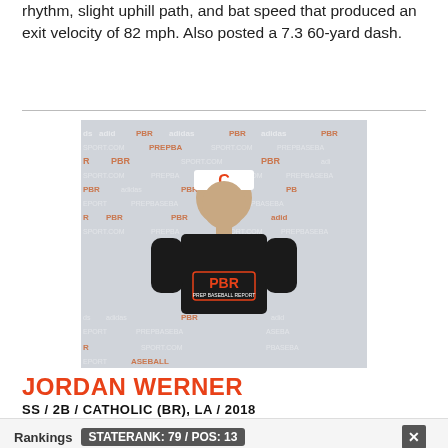rhythm, slight uphill path, and bat speed that produced an exit velocity of 82 mph. Also posted a 7.3 60-yard dash.
[Figure (photo): Photo of Jordan Werner in PBR (Prep Baseball Report) jersey and cap with letter C, standing in front of PBR/adidas backdrop]
JORDAN WERNER
SS / 2B / CATHOLIC (BR), LA / 2018
Rankings  STATE RANK: 79 / POS: 13
A 5-foot-9, 165-pound infielder with a medium, strong frame. Quality defender with average hands and clean